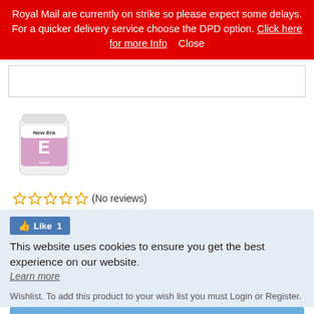Royal Mail are currently on strike so please expect some delays. For a quicker delivery service choose the DPD option. Click here for more Info    Close
[Figure (photo): Product image of New Era supplement container, white cylindrical bottle with pink label showing letter E]
☆☆☆☆☆ (No reviews)
👍 Like 1
This website uses cookies to ensure you get the best experience on our website.
Learn more
Wishlist. To add this product to your wish list you must Login or Register.
Got it!
£8.7